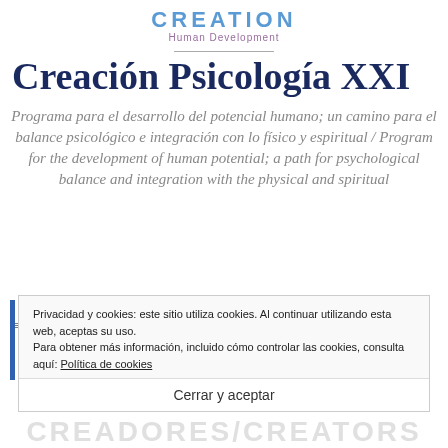[Figure (logo): CREATION Human Development logo in blue and purple text]
Creación Psicología XXI
Programa para el desarrollo del potencial humano; un camino para el balance psicológico e integración con lo físico y espiritual / Program for the development of human potential; a path for psychological balance and integration with the physical and spiritual
Privacidad y cookies: este sitio utiliza cookies. Al continuar utilizando esta web, aceptas su uso.
Para obtener más información, incluido cómo controlar las cookies, consulta aquí: Política de cookies
Cerrar y aceptar
CREADORES/CREATORS